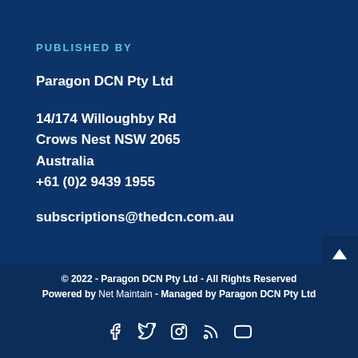PUBLISHED BY
Paragon DCN Pty Ltd
14/174 Willoughby Rd
Crows Nest NSW 2065
Australia
+61 (0)2 9439 1955
subscriptions@thedcn.com.au
© 2022 - Paragon DCN Pty Ltd - All Rights Reserved
Powered by Net Maintain - Managed by Paragon DCN Pty Ltd